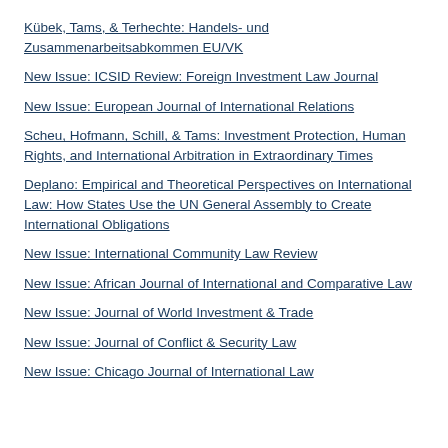Kübek, Tams, & Terhechte: Handels- und Zusammenarbeitsabkommen EU/VK
New Issue: ICSID Review: Foreign Investment Law Journal
New Issue: European Journal of International Relations
Scheu, Hofmann, Schill, & Tams: Investment Protection, Human Rights, and International Arbitration in Extraordinary Times
Deplano: Empirical and Theoretical Perspectives on International Law: How States Use the UN General Assembly to Create International Obligations
New Issue: International Community Law Review
New Issue: African Journal of International and Comparative Law
New Issue: Journal of World Investment & Trade
New Issue: Journal of Conflict & Security Law
New Issue: Chicago Journal of International Law